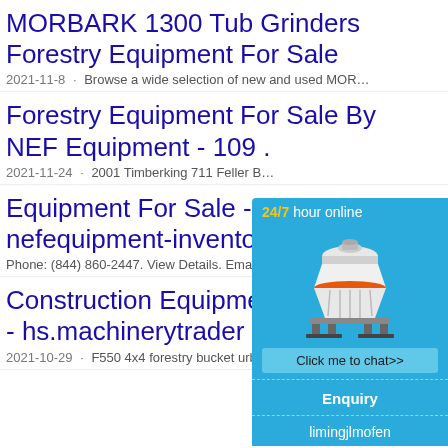MORBARK 1300 Tub Grinders Forestry Equipment For Sale
2021-11-8 · Browse a wide selection of new and used MOR…
Forestry Equipment For Sale By NEF Equipment - 109 .
2021-11-24 · 2001 Timberking 711 Feller B…
Equipment For Sale - 9… nefequipment-inventory…
Phone: (844) 860-2447. View Details. Ema…
Construction Equipmer… - hs.machinerytrader
2021-10-29 · F550 4x4 forestry bucket urb…
[Figure (infographic): Blue chat widget overlay showing '24/7 hour online', a cone crusher machine image, a 'Click me to chat>>' button, an 'Enquiry' section, and 'limingjlmofen' text at the bottom.]